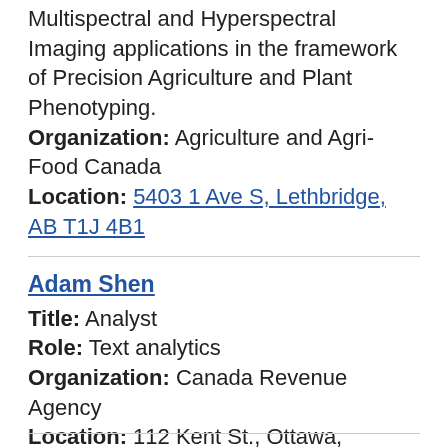Multispectral and Hyperspectral Imaging applications in the framework of Precision Agriculture and Plant Phenotyping.
Organization: Agriculture and Agri-Food Canada
Location: 5403 1 Ave S, Lethbridge, AB T1J 4B1
Adam Shen
Title: Analyst
Role: Text analytics
Organization: Canada Revenue Agency
Location: 112 Kent St., Ottawa, Ontario